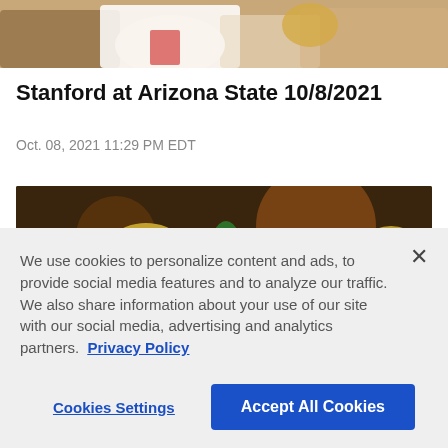[Figure (photo): Cropped top portion of a football game photo showing players in uniform]
Stanford at Arizona State 10/8/2021
Oct. 08, 2021 11:29 PM EDT
[Figure (photo): Football game action photo showing Colorado players in gold helmets and white uniforms facing Arizona State players in orange helmets]
We use cookies to personalize content and ads, to provide social media features and to analyze our traffic. We also share information about your use of our site with our social media, advertising and analytics partners. Privacy Policy
Cookies Settings
Accept All Cookies